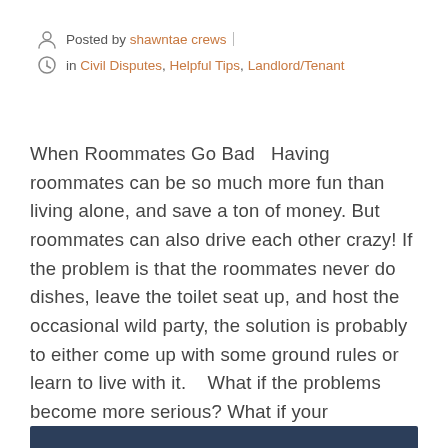Posted by shawntae crews | in Civil Disputes, Helpful Tips, Landlord/Tenant
When Roommates Go Bad   Having roommates can be so much more fun than living alone, and save a ton of money. But roommates can also drive each other crazy! If the problem is that the roommates never do dishes, leave the toilet seat up, and host the occasional wild party, the solution is probably to either come up with some ground rules or learn to live with it.   What if the problems become more serious? What if your roommate never pays rent, trashes the house, or starts doing something illegal on the premises? The first step is simple: tell them to...